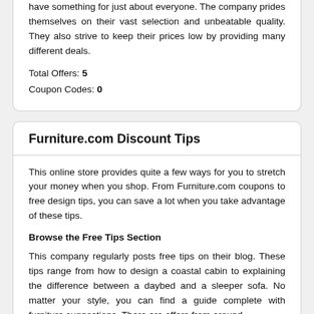have something for just about everyone. The company prides themselves on their vast selection and unbeatable quality. They also strive to keep their prices low by providing many different deals.
Total Offers: 5
Coupon Codes: 0
Furniture.com Discount Tips
This online store provides quite a few ways for you to stretch your money when you shop. From Furniture.com coupons to free design tips, you can save a lot when you take advantage of these tips.
Browse the Free Tips Section
This company regularly posts free tips on their blog. These tips range from how to design a coastal cabin to explaining the difference between a daybed and a sleeper sofa. No matter your style, you can find a guide complete with furniture suggestions. There are offers from around...